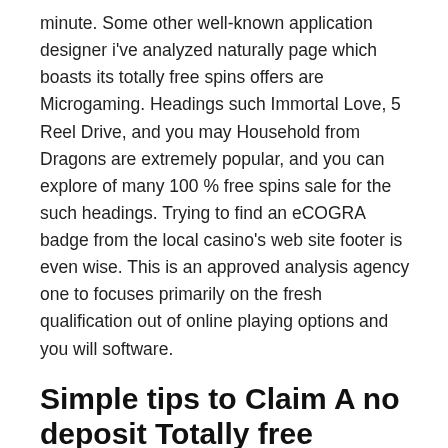minute. Some other well-known application designer i've analyzed naturally page which boasts its totally free spins offers are Microgaming. Headings such Immortal Love, 5 Reel Drive, and you may Household from Dragons are extremely popular, and you can explore of many 100 % free spins sale for the such headings. Trying to find an eCOGRA badge from the local casino's web site footer is even wise. This is an approved analysis agency one to focuses primarily on the fresh qualification out of online playing options and you will software.
Simple tips to Claim A no deposit Totally free Revolves Added bonus
All the web sites i checklist more than is instant-gamble gambling enterprises. So you can allege their added bonus, your don't need to down load an app. Go to the casino's site on the cellular phone thru all of our key and sign upwards. Signing up will provide you with the 100 % free revolves, 100 % free extra dollars, and...